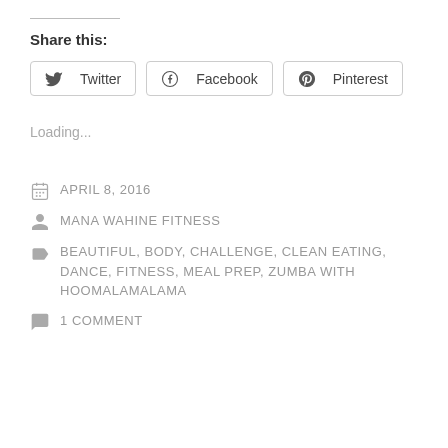Share this:
Twitter | Facebook | Pinterest
Loading...
APRIL 8, 2016
MANA WAHINE FITNESS
BEAUTIFUL, BODY, CHALLENGE, CLEAN EATING, DANCE, FITNESS, MEAL PREP, ZUMBA WITH HOOMALAMALAMA
1 COMMENT